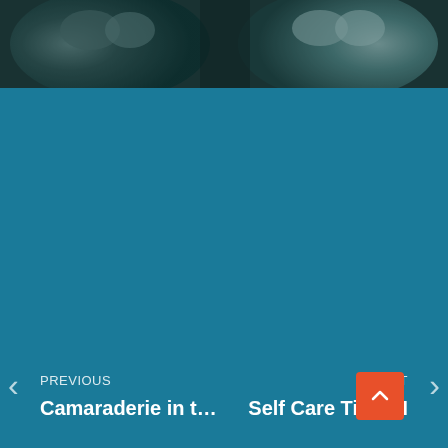[Figure (photo): Partial black and white close-up photograph of what appears to be faces or heads, visible at the top of the page on a dark teal background]
PREVIOUS
Camaraderie in t…
NEXT
Self Care Tips: H